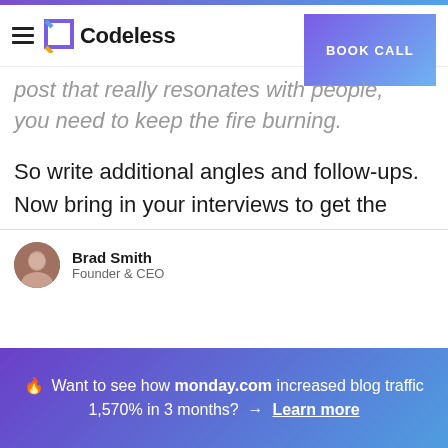Codeless | BOOK CALL
post that really resonates with people, you need to keep the fire burning.
So write additional angles and follow-ups. Now bring in your interviews to get the expert's opinions. You can even write a post about all the objections – just so you can link and bring up your own post.
Brad Smith
Founder & CEO
🔥 Want to see how monday.com increased blog traffic 1,570% in 3 months? → Learn more